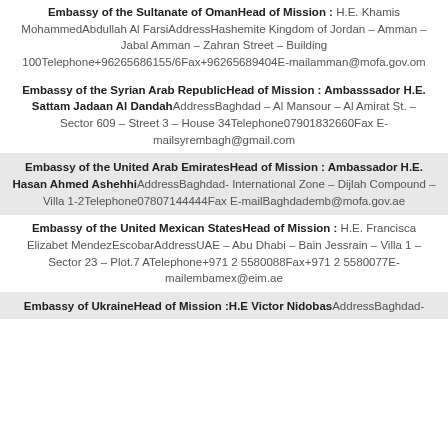Embassy of the Sultanate of OmanHead of Mission : H.E. Khamis MohammedAbdullah Al FarsiAddressHashemite Kingdom of Jordan – Amman – Jabal Amman – Zahran Street – Building 100Telephone+96265686155/6Fax+96265689404E-mailamman@mofa.gov.om
Embassy of the Syrian Arab RepublicHead of Mission : Ambasssador H.E. Sattam Jadaan Al DandahAddressBaghdad – Al Mansour – Al Amirat St. – Sector 609 – Street 3 – House 34Telephone07901832660Fax E-mailsyrembagh@gmail.com
Embassy of the United Arab EmiratesHead of Mission : Ambassador H.E. Hasan Ahmed AshehhibAddressBaghdad- International Zone – Dijlah Compound – Villa 1-2Telephone07807144444Fax E-mailBaghdademb@mofa.gov.ae
Embassy of the United Mexican StatesHead of Mission : H.E. Francisca Elizabet MendezEscobarAddressUAE – Abu Dhabi – Bain Jessrain – Villa 1 – Sector 23 – Plot.7 ATelephone+971 2 5580088Fax+971 2 5580077E-mailembamex@eim.ae
Embassy of UkraineHead of Mission :H.E Victor NidobasAddressBaghdad-